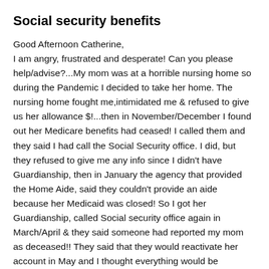Social security benefits
Good Afternoon Catherine,
I am angry, frustrated and desperate! Can you please help/advise?...My mom was at a horrible nursing home so during the Pandemic I decided to take her home. The nursing home fought me,intimidated me & refused to give us her allowance $!...then in November/December I found out her Medicare benefits had ceased! I called them and they said I had call the Social Security office. I did, but they refused to give me any info since I didn't have Guardianship, then in January the agency that provided the Home Aide, said they couldn't provide an aide because her Medicaid was closed! So I got her Guardianship, called Social security office again in March/April & they said someone had reported my mom as deceased!! They said that they would reactivate her account in May and I thought everything would be copasetic! Imagine my surprise when I  took her to the doctor & was told her benefits were still inactive! I  went to the Medicaid office 2x last week & this week, each time they had an issue